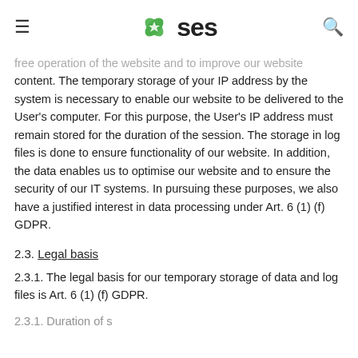SES
free operation of the website and to improve our website content. The temporary storage of your IP address by the system is necessary to enable our website to be delivered to the User's computer. For this purpose, the User's IP address must remain stored for the duration of the session. The storage in log files is done to ensure functionality of our website. In addition, the data enables us to optimise our website and to ensure the security of our IT systems. In pursuing these purposes, we also have a justified interest in data processing under Art. 6 (1) (f) GDPR.
2.3. Legal basis
2.3.1. The legal basis for our temporary storage of data and log files is Art. 6 (1) (f) GDPR.
2.3.1. Duration of s...